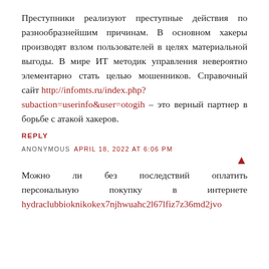Преступники реализуют преступные действия по разнообразнейшим причинам. В основном хакеры производят взлом пользователей в целях материальной выгоды. В мире ИТ методик управления невероятно элементарно стать целью мошенников. Справочный сайт http://infomts.ru/index.php?subaction=userinfo&user=otogih – это верный партнер в борьбе с атакой хакеров.
REPLY
ANONYMOUS APRIL 18, 2022 AT 6:06 PM
Можно ли без последствий оплатить персональную покупку в интернете hydraclubbioknikokex7njhwuahc2l67lfiz7z36md2jvo